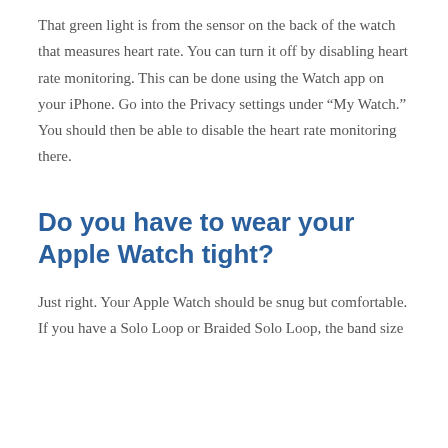That green light is from the sensor on the back of the watch that measures heart rate. You can turn it off by disabling heart rate monitoring. This can be done using the Watch app on your iPhone. Go into the Privacy settings under “My Watch.” You should then be able to disable the heart rate monitoring there.
Do you have to wear your Apple Watch tight?
Just right. Your Apple Watch should be snug but comfortable. If you have a Solo Loop or Braided Solo Loop, the band size